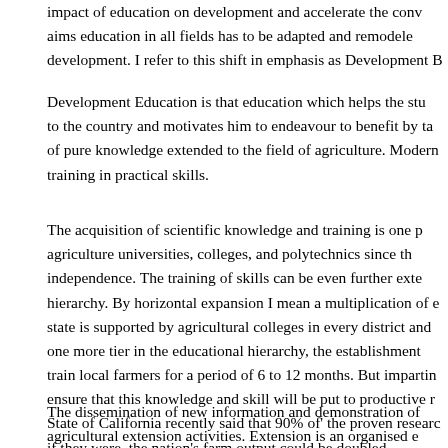impact of education on development and accelerate the conv aims education in all fields has to be adapted and remodele development. I refer to this shift in emphasis as Development B
Development Education is that education which helps the stu to the country and motivates him to endeavour to benefit by ta of pure knowledge extended to the field of agriculture. Modern training in practical skills.
The acquisition of scientific knowledge and training is one p agriculture universities, colleges, and polytechnics since th independence. The training of skills can be even further exte hierarchy. By horizontal expansion I mean a multiplication of e state is supported by agricultural colleges in every district and one more tier in the educational hierarchy, the establishment train local farmers for a period of 6 to 12 months. But impartir ensure that this knowledge and skill will be put to productive r State of California recently said that 90% of' the proven researc if they were, the nation's farm output could be doubled.
The dissemination of new information and demonstration of agricultural extension activities. Extension is an organised e